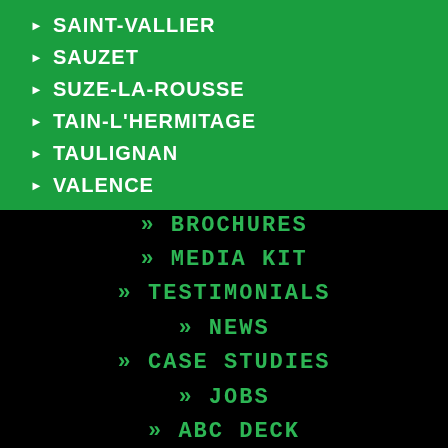SAINT-VALLIER
SAUZET
SUZE-LA-ROUSSE
TAIN-L'HERMITAGE
TAULIGNAN
VALENCE
» BROCHURES
» MEDIA KIT
» TESTIMONIALS
» NEWS
» CASE STUDIES
» JOBS
» ABC DECK